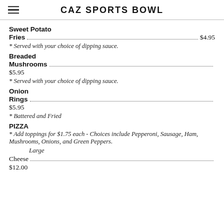CAZ SPORTS BOWL
Sweet Potato
Fries ................................................................ $4.95
* Served with your choice of dipping sauce.
Breaded
Mushrooms ....................................................
$5.95
* Served with your choice of dipping sauce.
Onion
Rings ................................................................
$5.95
* Battered and Fried
PIZZA
* Add toppings for $1.75 each - Choices include Pepperoni, Sausage, Ham, Mushrooms, Onions, and Green Peppers.
Large
Cheese ................................................................
$12.00